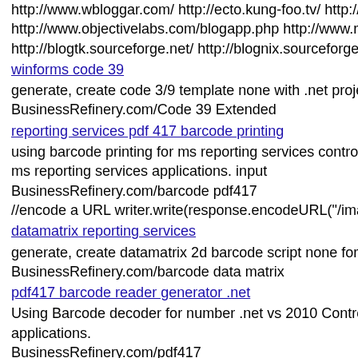http://www.wbloggar.com/ http://ecto.kung-foo.tv/ http://... http://www.objectivelabs.com/blogapp.php http://www.ra... http://blogtk.sourceforge.net/ http://blognix.sourceforge.n...
winforms code 39
generate, create code 3/9 template none with .net projects BusinessRefinery.com/Code 39 Extended
reporting services pdf 417 barcode printing
using barcode printing for ms reporting services control to ms reporting services applications. input BusinessRefinery.com/barcode pdf417 //encode a URL writer.write(response.encodeURL("/imag...
datamatrix reporting services
generate, create datamatrix 2d barcode script none for .ne... BusinessRefinery.com/barcode data matrix
pdf417 barcode reader generator .net
Using Barcode decoder for number .net vs 2010 Control to applications.
BusinessRefinery.com/pdf417
Figure 13-14. Adding a login status to your home page using scannable word microsoft to connect code 128 code... BusinessRefinery.com/ANSI/AIM Code 128
use word document ecc200 creator to compose data matri... BusinessRefinery.com/barcode data matrix
Download at
java barcode 128 generieren